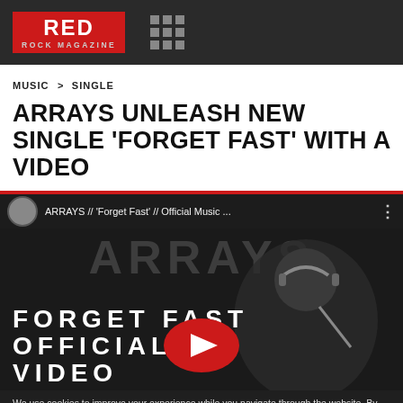RED ROCK MAGAZINE
MUSIC > SINGLE
ARRAYS UNLEASH NEW SINGLE 'FORGET FAST' WITH A VIDEO
[Figure (screenshot): YouTube video thumbnail for ARRAYS // 'Forget Fast' // Official Music Video, showing a stylized dark illustration of a singer with headphones, with text 'FORGET FAST OFFICIAL VIDEO' and a YouTube play button overlay]
We use cookies to improve your experience while you navigate through the website. By scrolling down, you consent to the use of all the cookies.